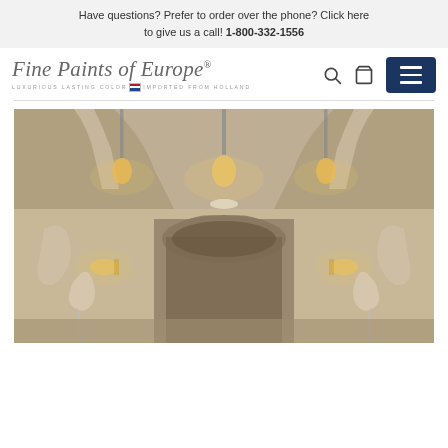Have questions? Prefer to order over the phone? Click here to give us a call! 1-800-332-1556
[Figure (logo): Fine Paints of Europe logo with script text and tagline 'LUXURIOUS LASTING COLOR IMPORTED FROM HOLLAND' with Dutch flag]
[Figure (photo): Interior room photo showing ornate Moroccan-style arched ceiling and doorway, warm amber lighting from pendant lights and wall sconces, white decorative moldings and trim against neutral walls]